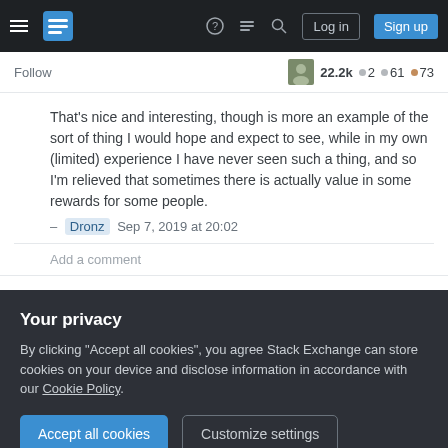Stack Exchange navigation bar with hamburger menu, logo, help, chat, search icons, Log in and Sign up buttons
Follow  22.2k •2 •61 •73
That's nice and interesting, though is more an example of the sort of thing I would hope and expect to see, while in my own (limited) experience I have never seen such a thing, and so I'm relieved that sometimes there is actually value in some rewards for some people.
– Dronz  Sep 7, 2019 at 20:02
Add a comment
Before I went with a straight cash-back card the
Your privacy
By clicking "Accept all cookies", you agree Stack Exchange can store cookies on your device and disclose information in accordance with our Cookie Policy.
Accept all cookies
Customize settings
is more efficient they would prefer to have fun with